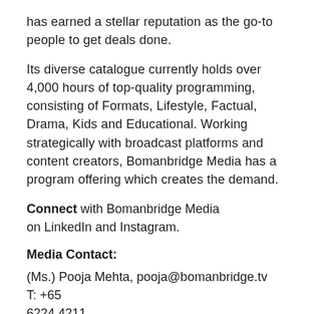has earned a stellar reputation as the go-to people to get deals done.
Its diverse catalogue currently holds over 4,000 hours of top-quality programming, consisting of Formats, Lifestyle, Factual, Drama, Kids and Educational. Working strategically with broadcast platforms and content creators, Bomanbridge Media has a program offering which creates the demand.
Connect with Bomanbridge Media on LinkedIn and Instagram.
Media Contact:
(Ms.) Pooja Mehta, pooja@bomanbridge.tv  T: +65 6224 4211
About TVO
TVO inspires learning that changes lives and enriches communities. Founded in 1970, we are a globally recognized digital learning organization that engages Ontarians of all ages with inclusive